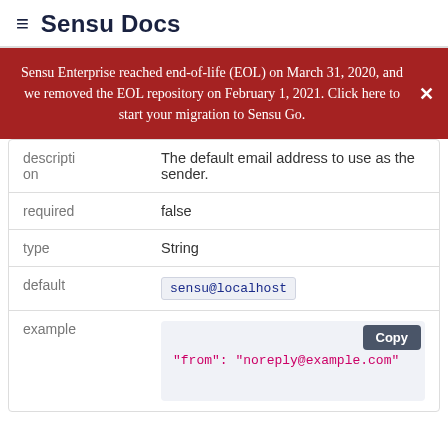≡ Sensu Docs
Sensu Enterprise reached end-of-life (EOL) on March 31, 2020, and we removed the EOL repository on February 1, 2021. Click here to start your migration to Sensu Go.
|  |  |
| --- | --- |
| description | The default email address to use as the sender. |
| required | false |
| type | String |
| default | sensu@localhost |
| example | "from": "noreply@example.com" |